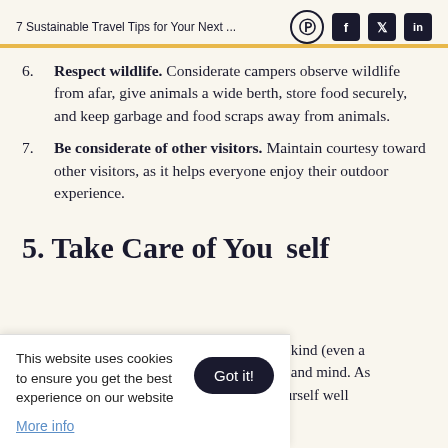7 Sustainable Travel Tips for Your Next ...
6. Respect wildlife. Considerate campers observe wildlife from afar, give animals a wide berth, store food securely, and keep garbage and food scraps away from animals.
7. Be considerate of other visitors. Maintain courtesy toward other visitors, as it helps everyone enjoy their outdoor experience.
5. Take Care of Yourself
kind (even a ... and mind. As you plan your trip, plan ahead to prepare yourself well